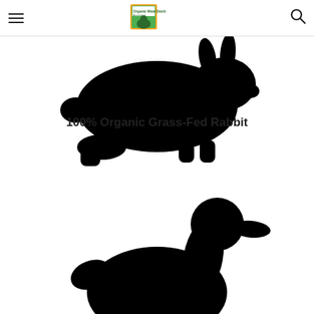Organic Meat Stock — navigation header with logo, hamburger menu, and search icon
[Figure (illustration): Black silhouette of a rabbit viewed from the side, crouching/running position]
100% Organic Grass-Fed Rabbit
[Figure (illustration): Black silhouette of a duck/waterfowl standing upright, viewed from the side, upper body and head visible]